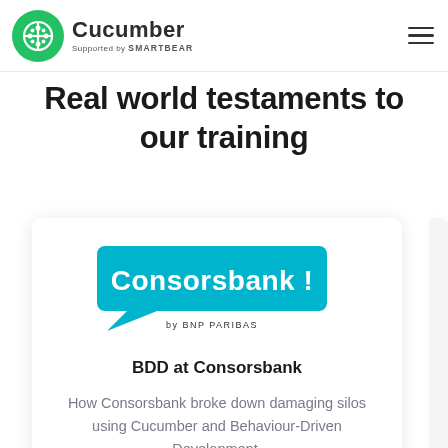Cucumber - Supported by SMARTBEAR
Real world testaments to our training
[Figure (logo): Consorsbank by BNP PARIBAS logo — white text on teal speech-bubble shape]
BDD at Consorsbank
How Consorsbank broke down damaging silos using Cucumber and Behaviour-Driven Development.